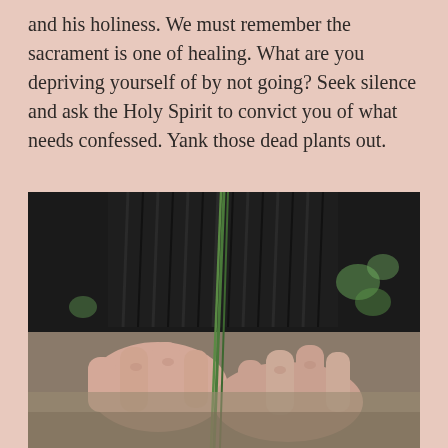and his holiness. We must remember the sacrament is one of healing. What are you depriving yourself of by not going? Seek silence and ask the Holy Spirit to convict you of what needs confessed. Yank those dead plants out.
[Figure (photo): Close-up photo of a person's hands wearing a dark knit sweater, holding thin green plant stems or seedlings, with blurred garden soil and small green plants in the background.]